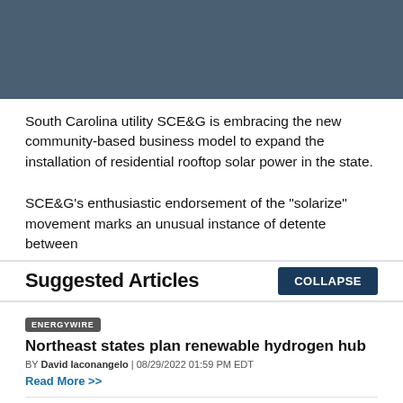[Figure (photo): Dark blue-grey header image placeholder]
South Carolina utility SCE&G is embracing the new community-based business model to expand the installation of residential rooftop solar power in the state.
SCE&G's enthusiastic endorsement of the "solarize" movement marks an unusual instance of detente between
Suggested Articles
COLLAPSE
ENERGYWIRE
Northeast states plan renewable hydrogen hub
BY David Iaconangelo | 08/29/2022 01:59 PM EDT
Read More >>
ENERGYWIRE
Trouble on pipeline's path hits home for Manchin